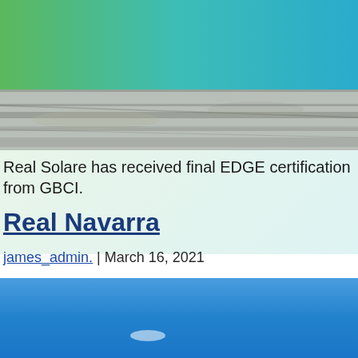Edge
[Figure (photo): Aerial photograph showing a road or sandy terrain with muted gray-green tones]
Real Solare has received final EDGE certification from GBCI.
Real Navarra
james_admin. | March 16, 2021
[Figure (photo): Large blue sky photograph]